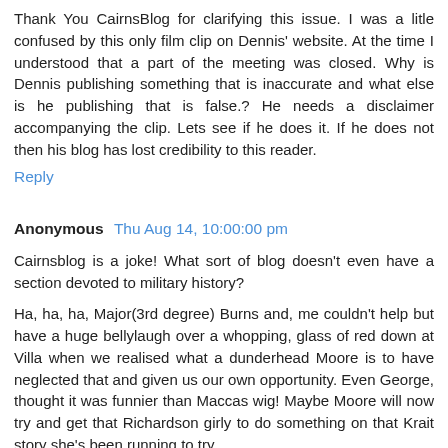Thank You CairnsBlog for clarifying this issue. I was a litle confused by this only film clip on Dennis' website. At the time I understood that a part of the meeting was closed. Why is Dennis publishing something that is inaccurate and what else is he publishing that is false.? He needs a disclaimer accompanying the clip. Lets see if he does it. If he does not then his blog has lost credibility to this reader.
Reply
Anonymous Thu Aug 14, 10:00:00 pm
Cairnsblog is a joke! What sort of blog doesn't even have a section devoted to military history?
Ha, ha, ha, Major(3rd degree) Burns and, me couldn't help but have a huge bellylaugh over a whopping, glass of red down at Villa when we realised what a dunderhead Moore is to have neglected that and given us our own opportunity. Even George, thought it was funnier than Maccas wig! Maybe Moore will now try and get that Richardson girly to do something on that Krait story she's been running to try